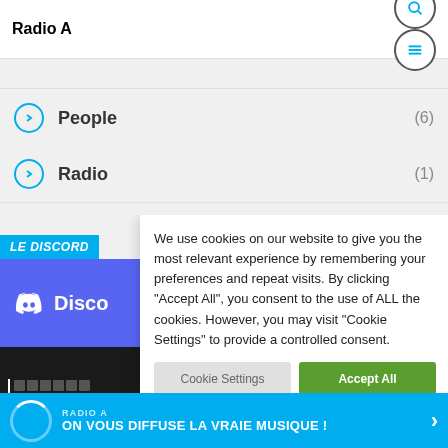Radio A
People (6)
Radio (1)
[Figure (screenshot): Discord card showing Discord logo with purple background and dark bottom section with text bars]
We use cookies on our website to give you the most relevant experience by remembering your preferences and repeat visits. By clicking "Accept All", you consent to the use of ALL the cookies. However, you may visit "Cookie Settings" to provide a controlled consent.
RADIO A — ON VOUS DIFFUSE LA VRAIE MUSIQUE !